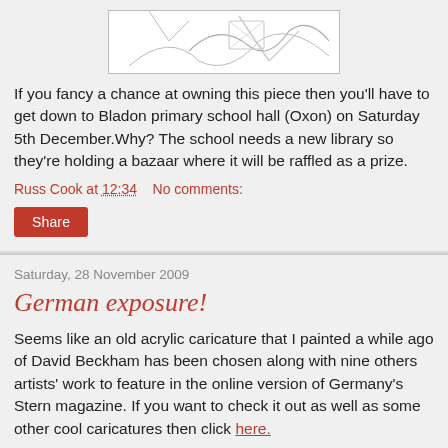[Figure (illustration): Partial sketch/drawing at the top of page, cropped]
If you fancy a chance at owning this piece then you'll have to get down to Bladon primary school hall (Oxon) on Saturday 5th December.Why? The school needs a new library so they're holding a bazaar where it will be raffled as a prize.
Russ Cook at 12:34    No comments:
Share
Saturday, 28 November 2009
German exposure!
Seems like an old acrylic caricature that I painted a while ago of David Beckham has been chosen along with nine others artists' work to feature in the online version of Germany's Stern magazine. If you want to check it out as well as some other cool caricatures then click here.
Russ Cook at 17:58    2 comments: